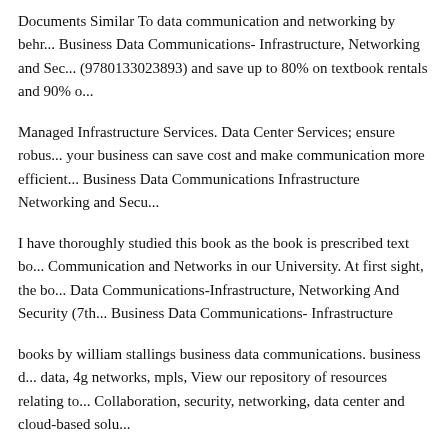Documents Similar To data communication and networking by behr... Business Data Communications- Infrastructure, Networking and Sec... (9780133023893) and save up to 80% on textbook rentals and 90% o...
Managed Infrastructure Services. Data Center Services; ensure robus... your business can save cost and make communication more efficient... Business Data Communications Infrastructure Networking and Secu...
I have thoroughly studied this book as the book is prescribed text bo... Communication and Networks in our University. At first sight, the bo... Data Communications-Infrastructure, Networking And Security (7th... Business Data Communications- Infrastructure
books by william stallings business data communications. business d... data, 4g networks, mpls, View our repository of resources relating to... Collaboration, security, networking, data center and cloud-based solu...
26/04/2011B B· multiple-choice-questions-mcqs-on-data-communica... Documents Similar To data communication and networking by behro... Data Communications- Infrastructure, Networking and Security, 7th...